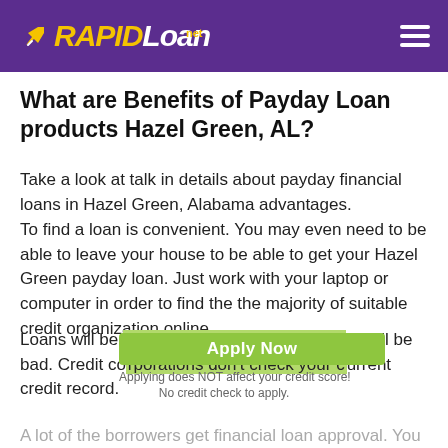RAPIDLoan.net
What are Benefits of Payday Loan products Hazel Green, AL?
Take a look at talk in details about payday financial loans in Hazel Green, Alabama advantages.
To find a loan is convenient. You may even need to be able to leave your house to be able to get your Hazel Green payday loan. Just work with your laptop or computer in order to find the the majority of suitable credit organization online.
Loans will be issued even if the credit history will be bad. Credit corporations don't check your current credit record.
[Figure (other): Green Apply Now button with subtext: Applying does NOT affect your credit score! No credit check to apply.]
A lot of the borrowers get financial loan approval. You